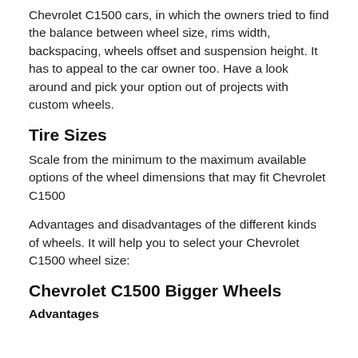Chevrolet C1500 cars, in which the owners tried to find the balance between wheel size, rims width, backspacing, wheels offset and suspension height. It has to appeal to the car owner too. Have a look around and pick your option out of projects with custom wheels.
Tire Sizes
Scale from the minimum to the maximum available options of the wheel dimensions that may fit Chevrolet C1500
Advantages and disadvantages of the different kinds of wheels. It will help you to select your Chevrolet C1500 wheel size:
Chevrolet C1500 Bigger Wheels
Advantages